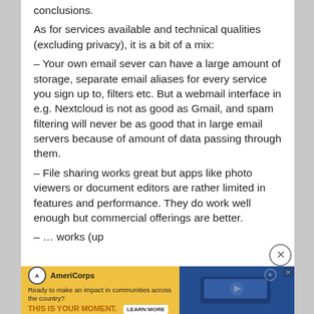conclusions. As for services available and technical qualities (excluding privacy), it is a bit of a mix: – Your own email sever can have a large amount of storage, separate email aliases for every service you sign up to, filters etc. But a webmail interface in e.g. Nextcloud is not as good as Gmail, and spam filtering will never be as good that in large email servers because of amount of data passing through them. – File sharing works great but apps like photo viewers or document editors are rather limited in features and performance. They do work well enough but commercial offerings are better.
[Figure (other): AmeriCorps advertisement banner: 'Ready to make an impact in communities across the country? THIS IS YOUR MOMENT.' with a LEARN MORE button and an image of people at computers. A close (X) button overlays the top right of the ad.]
– … works (up … it